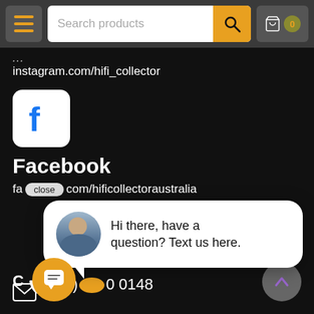[Figure (screenshot): Website header navigation bar with hamburger menu, search bar with yellow search button, and cart icon with 0 count badge]
instagram.com/hifi_collector
[Figure (logo): Facebook logo icon - white F on white rounded square background]
Facebook
fa[close pill]com/hificollectoraustralia
[Figure (screenshot): Chat popup with user avatar photo and message: Hi there, have a question? Text us here.]
(08) 0 0148
[Figure (screenshot): Yellow floating chat button with message icon at bottom left, and grey scroll-to-top button at bottom right]